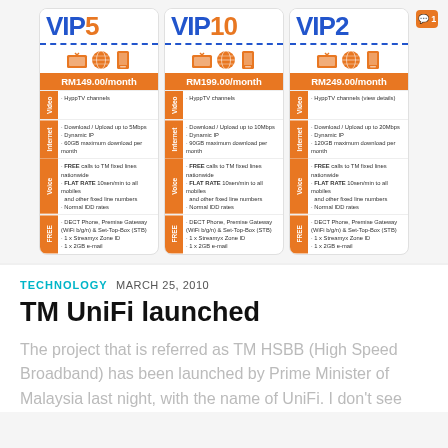[Figure (infographic): Three TM UniFi VIP plans comparison: VIP5 (RM149.00/month), VIP10 (RM199.00/month), VIP20 (RM249.00/month) with features for Video, Internet, Voice, and FREE categories]
TECHNOLOGY  MARCH 25, 2010
TM UniFi launched
The project that is referred as TM HSBB (High Speed Broadband) has been launched by Prime Minister of Malaysia last night, with the name of UniFi. I don't see